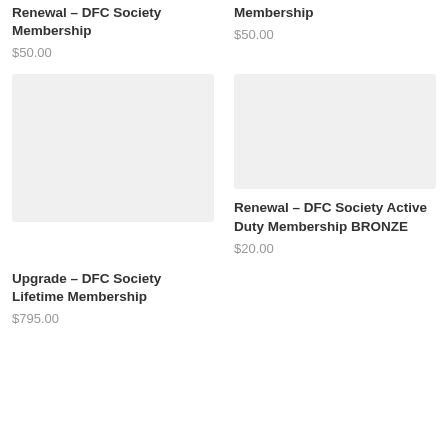Renewal – DFC Society Membership
$50.00
Membership
$50.00
[Figure (other): Product image placeholder - light gray rectangle]
[Figure (other): Product image placeholder - light gray rectangle]
Renewal – DFC Society Active Duty Membership BRONZE
$20.00
Upgrade – DFC Society Lifetime Membership
$795.00